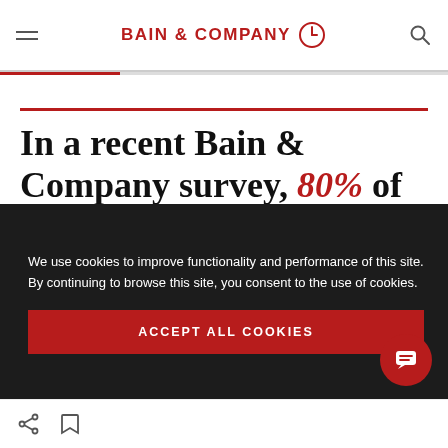BAIN & COMPANY
In a recent Bain & Company survey, 80% of European consumers report caring about sustainability, and 14% say
We use cookies to improve functionality and performance of this site. By continuing to browse this site, you consent to the use of cookies.
ACCEPT ALL COOKIES